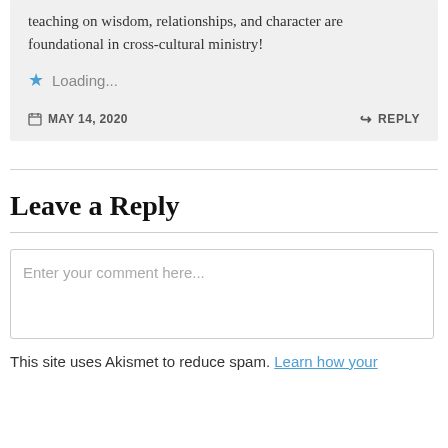teaching on wisdom, relationships, and character are foundational in cross-cultural ministry!
Loading...
MAY 14, 2020
REPLY
Leave a Reply
Enter your comment here...
This site uses Akismet to reduce spam. Learn how your